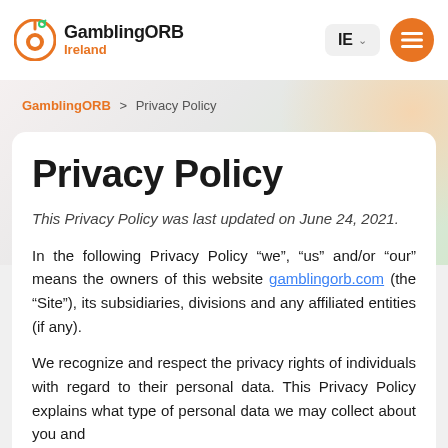GamblingORB Ireland | IE | Menu
GamblingORB > Privacy Policy
Privacy Policy
This Privacy Policy was last updated on June 24, 2021.
In the following Privacy Policy “we”, “us” and/or “our” means the owners of this website gamblingorb.com (the “Site”), its subsidiaries, divisions and any affiliated entities (if any).
We recognize and respect the privacy rights of individuals with regard to their personal data. This Privacy Policy explains what type of personal data we may collect about you and